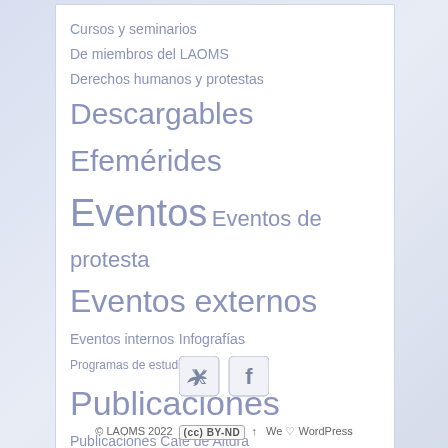Cursos y seminarios
De miembros del LAOMS
Derechos humanos y protestas
Descargables
Efemérides
Eventos
Eventos de protesta
Eventos externos
Eventos internos
Infografías
Programas de estudio
Publicaciones
Publicaciones Café de Altura
Recomendaciones fílmicas
Recomendadas
REDA
Sin categoría
[Figure (infographic): Twitter and Facebook social media icon buttons]
© LAOMS 2022  (cc) BY-ND  ↑  We ♡ WordPress